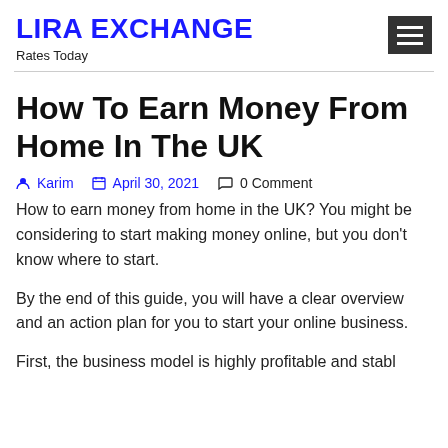LIRA EXCHANGE
Rates Today
How To Earn Money From Home In The UK
Karim   April 30, 2021   0 Comment
How to earn money from home in the UK? You might be considering to start making money online, but you don't know where to start.
By the end of this guide, you will have a clear overview and an action plan for you to start your online business.
First, the business model is highly profitable and stabl…